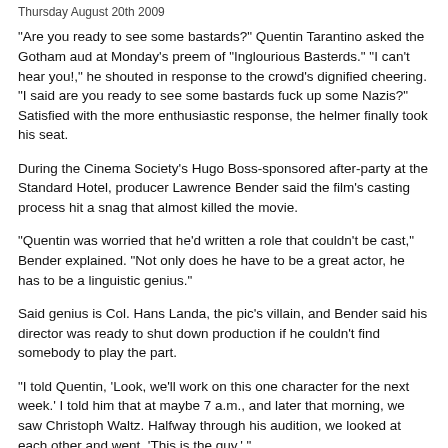Thursday August 20th 2009
“Are you ready to see some bastards?” Quentin Tarantino asked the Gotham aud at Monday’s preem of “Inglourious Basterds.” “I can’t hear you!,” he shouted in response to the crowd’s dignified cheering. “I said are you ready to see some bastards fuck up some Nazis?” Satisfied with the more enthusiastic response, the helmer finally took his seat.
During the Cinema Society’s Hugo Boss-sponsored after-party at the Standard Hotel, producer Lawrence Bender said the film’s casting process hit a snag that almost killed the movie.
“Quentin was worried that he’d written a role that couldn’t be cast,” Bender explained. “Not only does he have to be a great actor, he has to be a linguistic genius.”
Said genius is Col. Hans Landa, the pic’s villain, and Bender said his director was ready to shut down production if he couldn’t find somebody to play the part.
“I told Quentin, ‘Look, we’ll work on this one character for the next week.’ I told him that at maybe 7 a.m., and later that morning, we saw Christoph Waltz. Halfway through his audition, we looked at each other and went, ‘This is the guy.’ ”